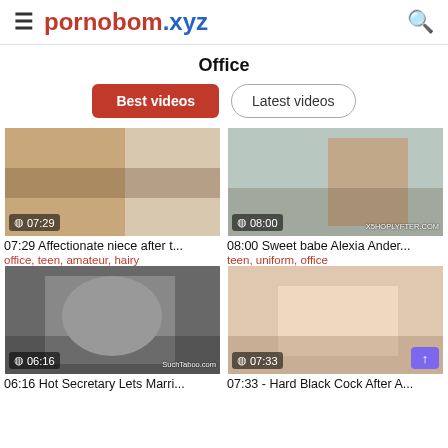pornobom.xyz
Office
Best videos | Latest videos
[Figure (screenshot): Video thumbnail 1: duration 07:29, Affectionate niece after t..., tags: office, teen, amateur, hairy]
[Figure (screenshot): Video thumbnail 2: duration 08:00, Sweet babe Alexia Ander..., tags: teen, uniform, office]
[Figure (screenshot): Video thumbnail 3: duration 06:16, Hot Secretary Lets Marri..., tags: (truncated)]
[Figure (screenshot): Video thumbnail 4: duration 07:33, Hard Black Cock After A..., tags: (truncated)]